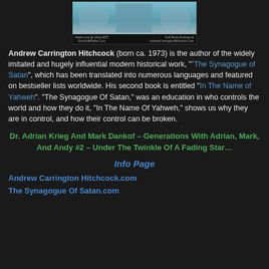[Figure (photo): Photo of Andrew Carrington Hitchcock with arms outstretched, with text overlays for live show and archives URLs]
Andrew Carrington Hitchcock (born ca. 1973) is the author of the widely imitated and hugely influential modern historical work, "The Synagogue of Satan", which has been translated into numerous languages and featured on bestseller lists worldwide. His second book is entitled "In The Name of Yahweh". "The Synagogue Of Satan," was an education in who controls the world and how they do it, "In The Name Of Yahweh," shows us why they are in control, and how their control can be broken.
Dr. Adrian Krieg And Mark Dankof – Generations With Adrian, Mark, And Andy #2 – Under The Twinkle Of A Fading Star…
Info Page
Andrew Carrington Hitchcock.com
The Synagogue Of Satan.com